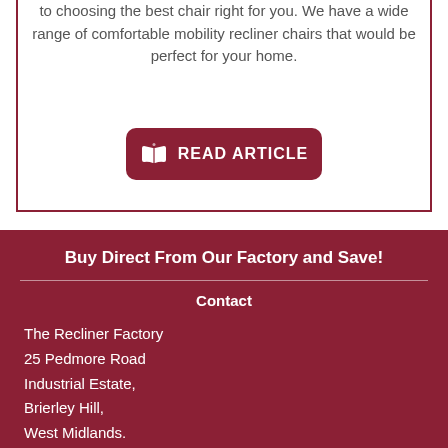to choosing the best chair right for you. We have a wide range of comfortable mobility recliner chairs that would be perfect for your home.
[Figure (other): Dark red rounded rectangle button with open book icon and text 'READ ARTICLE']
Buy Direct From Our Factory and Save!
Contact
The Recliner Factory
25 Pedmore Road
Industrial Estate,
Brierley Hill,
West Midlands.
DY5 1TJ